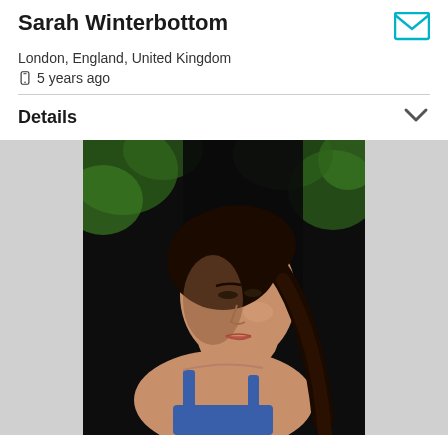Sarah Winterbottom
London, England, United Kingdom
5 years ago
Details
[Figure (photo): Portrait photo of a young woman with dark hair pulled back, wearing a blue spaghetti-strap top, looking to the side with green foliage and dark background behind her.]